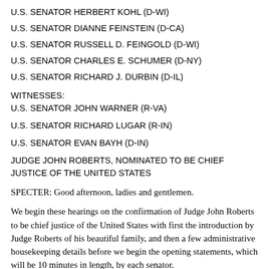U.S. SENATOR HERBERT KOHL (D-WI)
U.S. SENATOR DIANNE FEINSTEIN (D-CA)
U.S. SENATOR RUSSELL D. FEINGOLD (D-WI)
U.S. SENATOR CHARLES E. SCHUMER (D-NY)
U.S. SENATOR RICHARD J. DURBIN (D-IL)
WITNESSES:
U.S. SENATOR JOHN WARNER (R-VA)
U.S. SENATOR RICHARD LUGAR (R-IN)
U.S. SENATOR EVAN BAYH (D-IN)
JUDGE JOHN ROBERTS, NOMINATED TO BE CHIEF JUSTICE OF THE UNITED STATES
SPECTER: Good afternoon, ladies and gentlemen.
We begin these hearings on the confirmation of Judge John Roberts to be chief justice of the United States with first the introduction by Judge Roberts of his beautiful family, and then a few administrative housekeeping details before we begin the opening statements, which will be 10 minutes in length, by each senator.
At the conclusion of the opening statements, we will then turn to the introductions by Judge Lugar, Judge Warner -- actually, Senator Lugar, Senator Warner and Senator Bayh, and then the administration of the oath to Judge Roberts and his sworn in...